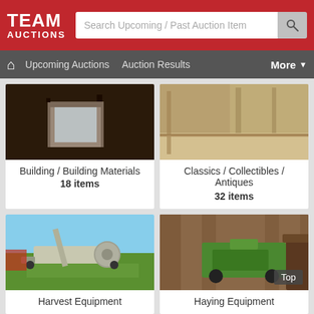[Figure (screenshot): Team Auctions website header with red background, white TEAM AUCTIONS logo on left, and search bar reading 'Search Upcoming / Past Auction Items' with a search icon button on the right]
[Figure (screenshot): Navigation bar in dark grey with home icon, 'Upcoming Auctions', 'Auction Results' links, and 'More' dropdown on right]
[Figure (photo): Photo of a building interior with a window frame and dark surroundings]
Building / Building Materials
18 items
[Figure (photo): Photo of a wooden floor corner detail with rustic wood planks]
Classics / Collectibles / Antiques
32 items
[Figure (photo): Photo of harvest equipment / auger on a green field with blue sky]
Harvest Equipment
[Figure (photo): Photo of haying equipment (green John Deere implement) in a barn with 'Top' badge overlay]
Haying Equipment